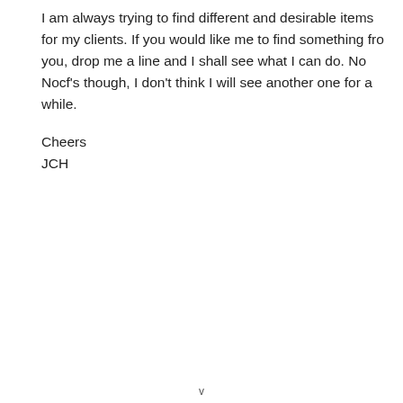I am always trying to find different and desirable items for my clients. If you would like me to find something fro you, drop me a line and I shall see what I can do. No Nocf's though, I don't think I will see another one for a while.
Cheers
JCH
v